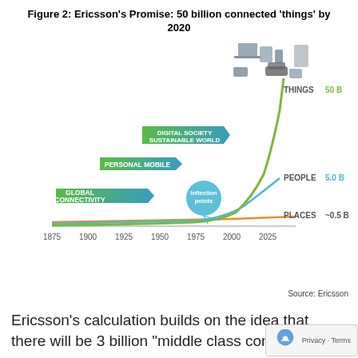Figure 2: Ericsson's Promise: 50 billion connected 'things' by 2020
[Figure (infographic): Infographic showing three growth curves from 1875 to 2025: THINGS (green, exponential, reaching 50 B), PEOPLE (blue, reaching 5.0 B), PLACES (orange, flat, ~0.5 B). Three green arrow labels indicate eras: Global Connectivity, Personal Mobile, Digital Society Sustainable World. A blue circle marks 'Inflection points' around 1975-2000. Device icons (laptop, tablet, phone, car, appliances) shown at top right.]
Source: Ericsson
Ericsson’s calculation builds on the idea that there will be 3 billion “middle class consumers”, ea…